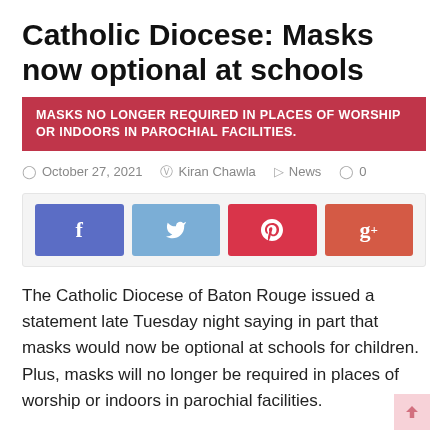Catholic Diocese: Masks now optional at schools
MASKS NO LONGER REQUIRED IN PLACES OF WORSHIP OR INDOORS IN PAROCHIAL FACILITIES.
October 27, 2021   Kiran Chawla   News   0
[Figure (other): Social media share buttons: Facebook, Twitter, Pinterest, Google+]
The Catholic Diocese of Baton Rouge issued a statement late Tuesday night saying in part that masks would now be optional at schools for children. Plus, masks will no longer be required in places of worship or indoors in parochial facilities.